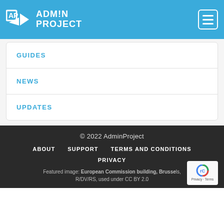ADMIN PROJECT
GUIDES
NEWS
UPDATES
© 2022 AdminProject
ABOUT   SUPPORT   TERMS AND CONDITIONS
PRIVACY
Featured image: European Commission building, Brussels, R/DV/RS, used under CC BY 2.0